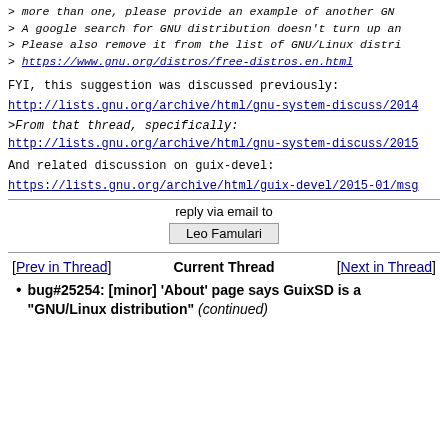> more than one, please provide an example of another GN
> A google search for GNU distribution doesn't turn up an
> Please also remove it from the list of GNU/Linux distri
> https://www.gnu.org/distros/free-distros.en.html
FYI, this suggestion was discussed previously:
http://lists.gnu.org/archive/html/gnu-system-discuss/2014
>From that thread, specifically:
http://lists.gnu.org/archive/html/gnu-system-discuss/2015
And related discussion on guix-devel:
https://lists.gnu.org/archive/html/guix-devel/2015-01/msg
reply via email to
Leo Famulari
[Prev in Thread]    Current Thread    [Next in Thread]
bug#25254: [minor] 'About' page says GuixSD is a "GNU/Linux distribution" (continued)